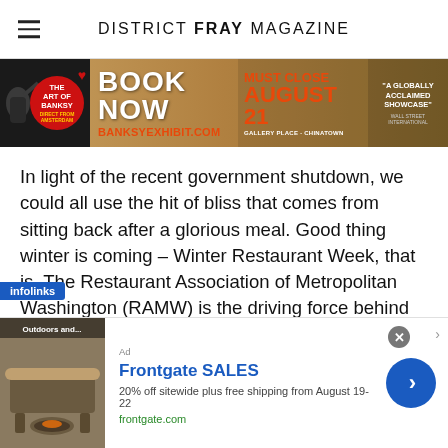DISTRICT FRAY MAGAZINE
[Figure (infographic): The Art of Banksy advertisement banner: Book Now, BANKSYEXHIBIT.COM, Must Close August 21, Gallery Place-Chinatown, 'A Globally Acclaimed Showcase' – Wall Street International]
In light of the recent government shutdown, we could all use the hit of bliss that comes from sitting back after a glorious meal. Good thing winter is coming – Winter Restaurant Week, that is. The Restaurant Association of Metropolitan Washington (RAMW) is the driving force behind this foodie-focused week from January 14-20, with hearty, three-course meal options offered for reasonable prices at some of the area's best restaurants. All 250-plus ants are offering lunch or brunch for $22 and dinn
[Figure (infographic): Frontgate SALES advertisement: 20% off sitewide plus free shipping from August 19-22, frontgate.com, with outdoor furniture image and blue arrow button]